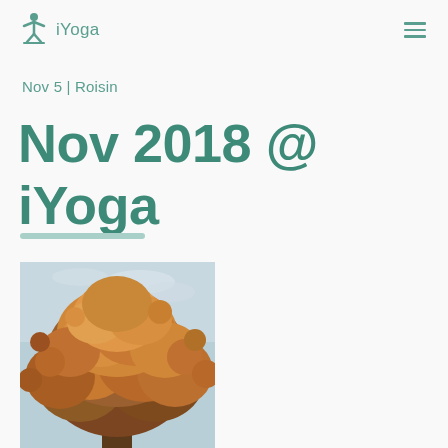iYoga
Nov 5 | Roisin
Nov 2018 @ iYoga
[Figure (photo): Autumn tree with dense orange-brown foliage against a pale blue sky]